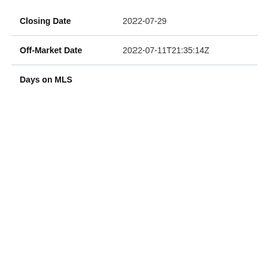| Field | Value |
| --- | --- |
| Closing Date | 2022-07-29 |
| Off-Market Date | 2022-07-11T21:35:14Z |
| Days on MLS |  |